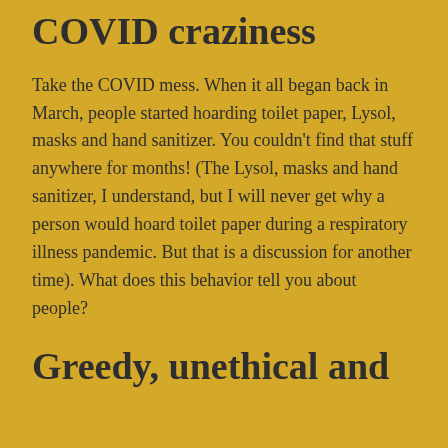COVID craziness
Take the COVID mess. When it all began back in March, people started hoarding toilet paper, Lysol, masks and hand sanitizer. You couldn’t find that stuff anywhere for months! (The Lysol, masks and hand sanitizer, I understand, but I will never get why a person would hoard toilet paper during a respiratory illness pandemic. But that is a discussion for another time). What does this behavior tell you about people?
Greedy, unethical and